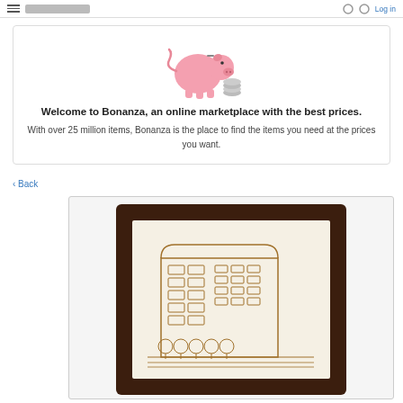Bonanza — Log in
[Figure (illustration): Bonanza piggy bank mascot illustration with pink pig and coins]
Welcome to Bonanza, an online marketplace with the best prices.
With over 25 million items, Bonanza is the place to find the items you need at the prices you want.
< Back
[Figure (photo): Framed embroidered or pyrography artwork depicting a multi-story building with decorative elements and trees, in a dark wood frame]